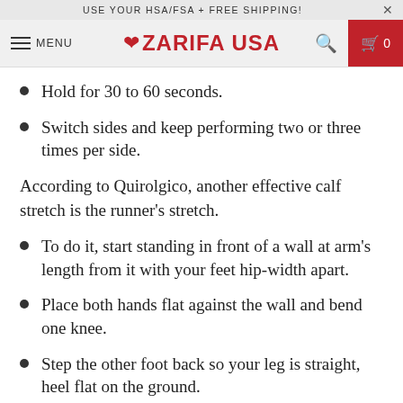USE YOUR HSA/FSA + FREE SHIPPING!
ZARIFA USA — Menu, Search, Cart
Hold for 30 to 60 seconds.
Switch sides and keep performing two or three times per side.
According to Quirolgico, another effective calf stretch is the runner's stretch.
To do it, start standing in front of a wall at arm's length from it with your feet hip-width apart.
Place both hands flat against the wall and bend one knee.
Step the other foot back so your leg is straight, heel flat on the ground.
Keep both feet pointed forward and gently